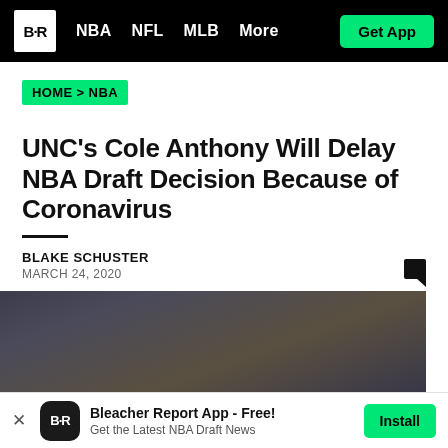B·R  NBA  NFL  MLB  More  Get App
HOME > NBA
UNC's Cole Anthony Will Delay NBA Draft Decision Because of Coronavirus
BLAKE SCHUSTER
MARCH 24, 2020
[Figure (photo): Blurred/darkened sports photo used as article hero image with an X close button overlay]
Bleacher Report App - Free!
Get the Latest NBA Draft News
Install